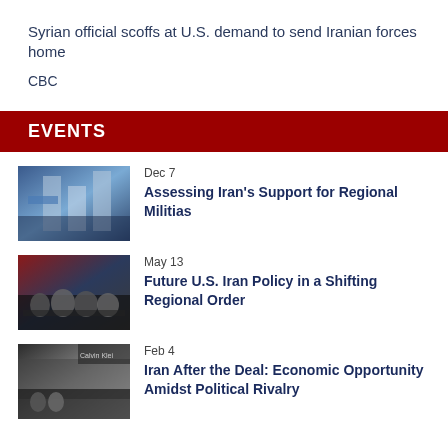Syrian official scoffs at U.S. demand to send Iranian forces home
CBC
EVENTS
Dec 7
Assessing Iran's Support for Regional Militias
May 13
Future U.S. Iran Policy in a Shifting Regional Order
Feb 4
Iran After the Deal: Economic Opportunity Amidst Political Rivalry